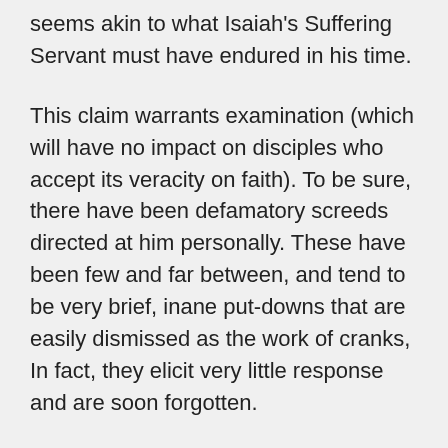seems akin to what Isaiah's Suffering Servant must have endured in his time.
This claim warrants examination (which will have no impact on disciples who accept its veracity on faith). To be sure, there have been defamatory screeds directed at him personally. These have been few and far between, and tend to be very brief, inane put-downs that are easily dismissed as the work of cranks, In fact, they elicit very little response and are soon forgotten.
What appears to most disturb Prof. Falk are longer comments that cite legitimate sources to take issue with his views. Right or wrong, these in no way fall into the